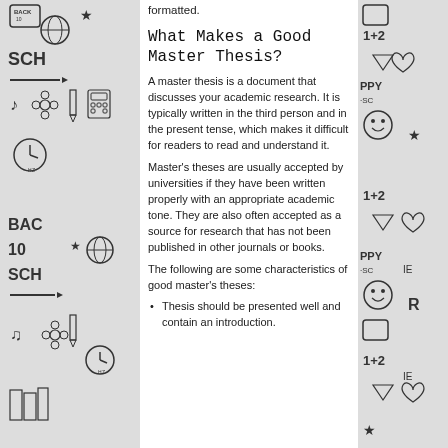[Figure (illustration): Decorative school doodle pattern on left side panel with back to school drawings including globe, books, pencils, flowers, and text 'BACK TO SCHOOL']
[Figure (illustration): Decorative school doodle pattern on right side panel with drawings including smiley faces, math symbols '1+2', and 'HAPPY SCHOOL' text]
formatted.
What Makes a Good Master Thesis?
A master thesis is a document that discusses your academic research. It is typically written in the third person and in the present tense, which makes it difficult for readers to read and understand it.
Master's theses are usually accepted by universities if they have been written properly with an appropriate academic tone. They are also often accepted as a source for research that has not been published in other journals or books.
The following are some characteristics of good master's theses:
Thesis should be presented well and contain an introduction.